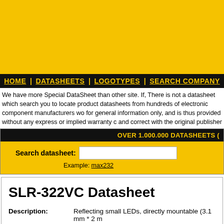[Figure (other): Yellow banner advertisement area at the top of the page]
HOME | DATASHEETS | LOGOTYPES | SEARCH COMPANY
We have more Special DataSheet than other site. If, There is not a datasheet which search you to locate product datasheets from hundreds of electronic component manufacturers wo for general information only, and is thus provided without any express or implied warranty c and correct with the original publisher of the data sheet. Most of the data sheets below are i
OVER 1.000.000 DATASHEETS
Search datasheet: [input] Example: max232
SLR-322VC Datasheet
Description: Reflecting small LEDs, directly mountable (3.1 mm * 2 mm
Manufacturer: ROHM